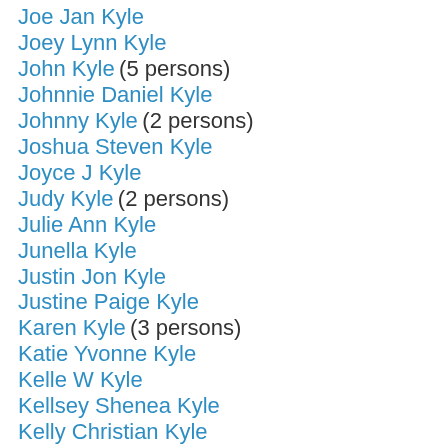Joe Jan Kyle
Joey Lynn Kyle
John Kyle (5 persons)
Johnnie Daniel Kyle
Johnny Kyle (2 persons)
Joshua Steven Kyle
Joyce J Kyle
Judy Kyle (2 persons)
Julie Ann Kyle
Junella Kyle
Justin Jon Kyle
Justine Paige Kyle
Karen Kyle (3 persons)
Katie Yvonne Kyle
Kelle W Kyle
Kellsey Shenea Kyle
Kelly Christian Kyle
Kenneth Charles Kyle